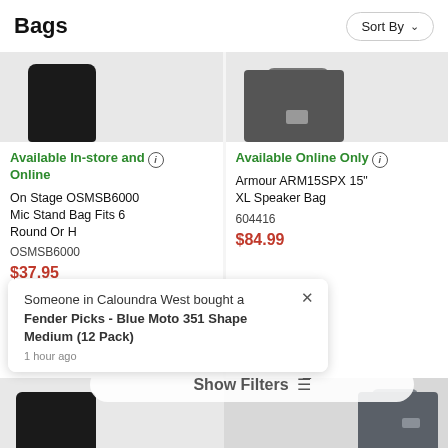Bags
Sort By
Available In-store and Online
On Stage OSMSB6000 Mic Stand Bag Fits 6 Round Or H
OSMSB6000
$37.95
Available Online Only
Armour ARM15SPX 15" XL Speaker Bag
604416
$84.99
Someone in Caloundra West bought a Fender Picks - Blue Moto 351 Shape Medium (12 Pack)
1 hour ago
Show Filters